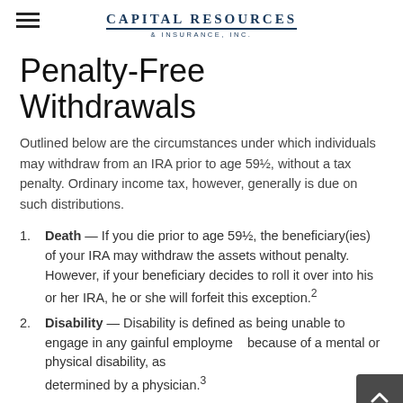Capital Resources & Insurance, Inc.
Penalty-Free Withdrawals
Outlined below are the circumstances under which individuals may withdraw from an IRA prior to age 59½, without a tax penalty. Ordinary income tax, however, generally is due on such distributions.
Death — If you die prior to age 59½, the beneficiary(ies) of your IRA may withdraw the assets without penalty. However, if your beneficiary decides to roll it over into his or her IRA, he or she will forfeit this exception.²
Disability — Disability is defined as being unable to engage in any gainful employment because of a mental or physical disability, as determined by a physician.³